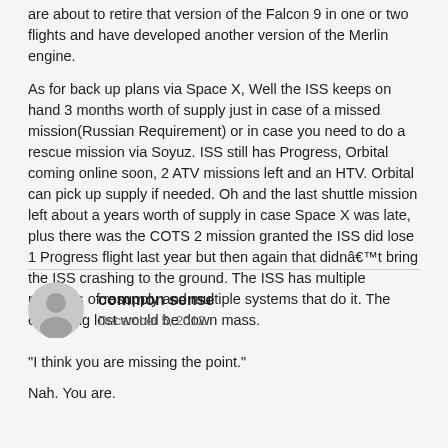are about to retire that version of the Falcon 9 in one or two flights and have developed another version of the Merlin engine.

As for back up plans via Space X, Well the ISS keeps on hand 3 months worth of supply just in case of a missed mission(Russian Requirement) or in case you need to do a rescue mission via Soyuz. ISS still has Progress, Orbital coming online soon, 2 ATV missions left and an HTV. Orbital can pick up supply if needed. Oh and the last shuttle mission left about a years worth of supply in case Space X was late, plus there was the COTS 2 mission granted the ISS did lose 1 Progress flight last year but then again that didnâ€™t bring the ISS crashing to the ground. The ISS has multiple methods of resupply and multiple systems that do it. The only thing lost would be down mass.
[Figure (other): Generic user avatar icon, circular grey silhouette]
common sense
December 5, 2012
"I think you are missing the point."

Nah. You are.